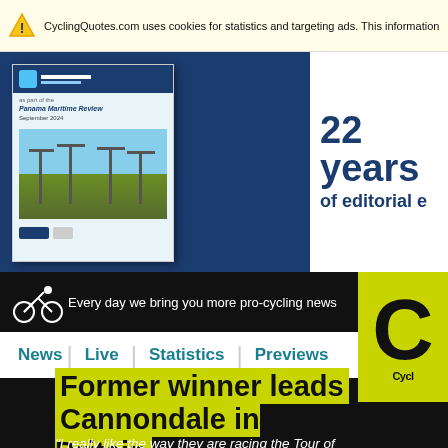CyclingQuotes.com uses cookies for statistics and targeting ads. This information is shared with
[Figure (screenshot): Advertisement banner for a maritime publication showing '22 years of editorial e...' with a book cover image on dark blue background]
Every day we bring you more pro-cycling news
[Figure (logo): CyclingQuotes logo - yellow-green box with large 'C' letter and 'Cycl' text]
News | Live | Statistics | Previews
Former winner leads Cannondale in Britain
“I really like the way they are racing the Tour of Britain. It's like a junior style race. And with only six riders in a team, it is more exciting, I'm...